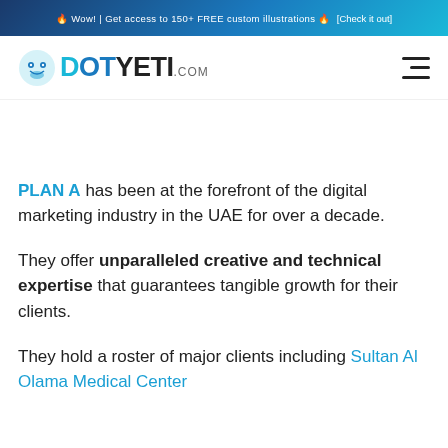🔥 Wow! | Get access to 150+ FREE custom illustrations 🔥 [Check it out]
[Figure (logo): DotYeti.com logo in blue with yeti icon, hamburger menu on right]
PLAN A has been at the forefront of the digital marketing industry in the UAE for over a decade.
They offer unparalleled creative and technical expertise that guarantees tangible growth for their clients.
They hold a roster of major clients including Sultan Al Olama Medical Center